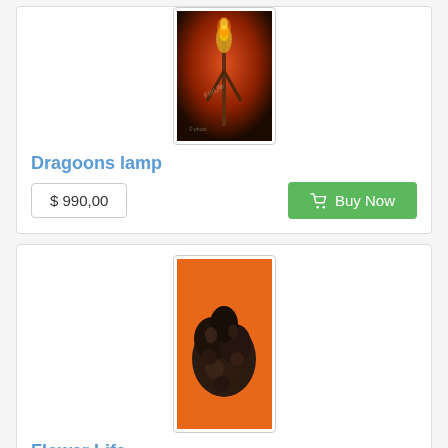[Figure (photo): Product photo of Dragoons lamp artwork on red/dark background]
Dragoons lamp
$ 990,00
[Figure (photo): Product photo of Flower Life sculpture on orange background]
Flower Life
$ 726,00